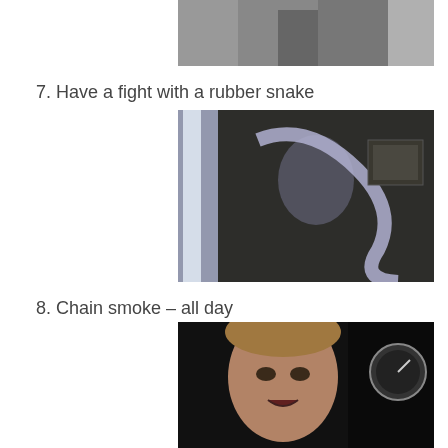[Figure (photo): Black and white photo showing two people, partially cropped at top of page]
7. Have a fight with a rubber snake
[Figure (photo): Dark/blurry scene showing a person fighting with a large rubber snake prop]
8. Chain smoke – all day
[Figure (photo): Close-up of a man with light brown hair looking intensely at camera, dark background with a gauge visible]